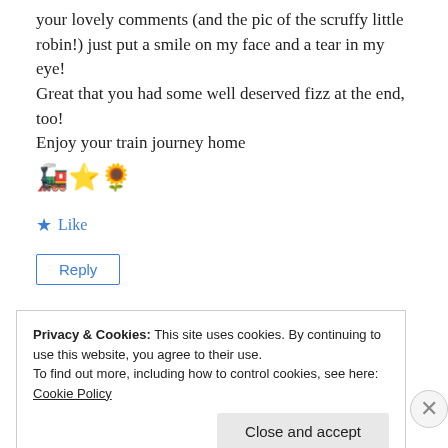your lovely comments (and the pic of the scruffy little robin!) just put a smile on my face and a tear in my eye!
Great that you had some well deserved fizz at the end, too!
Enjoy your train journey home
🚂⭐🌻
★ Like
Reply
Privacy & Cookies: This site uses cookies. By continuing to use this website, you agree to their use.
To find out more, including how to control cookies, see here:
Cookie Policy
Close and accept